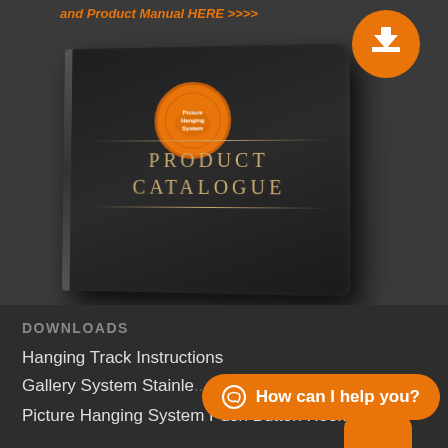[Figure (photo): Product Catalogue book mockup with orange circle logo reading 'Picture Hanging System' and gold text 'PRODUCT CATALOGUE' on a dark/black cover, shown in perspective view. Orange download button circle in top right corner. Orange italic bold text at top reading 'and Product Manual HERE >>>>'.]
DOWNLOADS
Hanging Track Instructions
Gallery System Stainle...
Picture Hanging System Push Button Hooks
How can I help you?